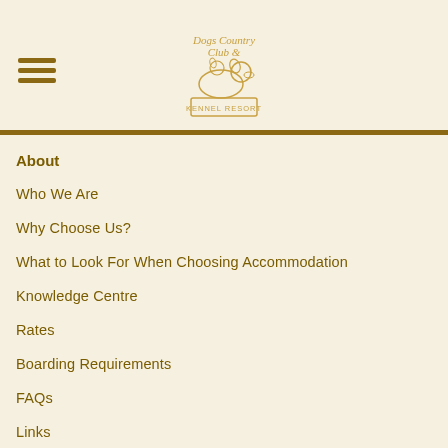[Figure (logo): Dogs Country Club & Kennel Resort logo with illustrated dogs and a sign]
About
Who We Are
Why Choose Us?
What to Look For When Choosing Accommodation
Knowledge Centre
Rates
Boarding Requirements
FAQs
Links